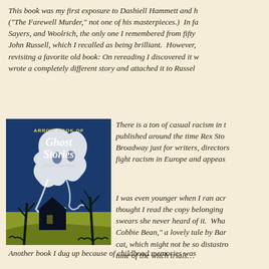This book was my first exposure to Dashiell Hammett and ("The Farewell Murder," not one of his masterpieces.)  In fa Sayers, and Woolrich, the only one I remembered from fifty John Russell, which I recalled as being brilliant.  However, revisitng a favorite old book: On rereading I discovered it w wrote a completely different story and attached it to Russel
[Figure (photo): Cover of 'Arrow Book of Ghost Stories' showing a blue background with a ghostly white figure and bare trees]
There is a ton of casual racism in t published around the time Rex Sto Broadway just for writers, directors fight racism in Europe and appeas
I was even younger when I ran acr thought I read the copy belonging swears she never heard of it.  Wha Cobbie Bean," a lovely tale by Bar cat, which might not be so disastro time of the witch trials…
Another book I dug up because of childhood memories was